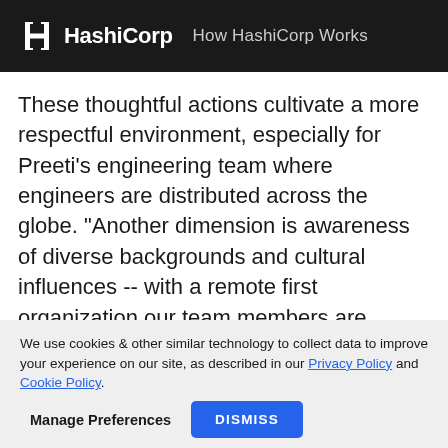HashiCorp  How HashiCorp Works
These thoughtful actions cultivate a more respectful environment, especially for Preeti's engineering team where engineers are distributed across the globe. "Another dimension is awareness of diverse backgrounds and cultural influences -- with a remote first organization our team members are spread in 30 states and 13 countries, I cannot assume that everyone will understand the Silicon
We use cookies & other similar technology to collect data to improve your experience on our site, as described in our Privacy Policy and Cookie Policy.
Manage Preferences  DISMISS